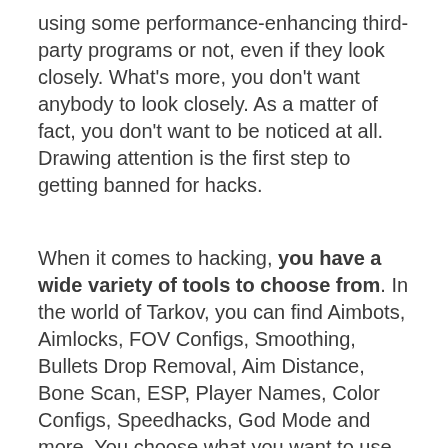using some performance-enhancing third-party programs or not, even if they look closely. What's more, you don't want anybody to look closely. As a matter of fact, you don't want to be noticed at all. Drawing attention is the first step to getting banned for hacks.
When it comes to hacking, you have a wide variety of tools to choose from. In the world of Tarkov, you can find Aimbots, Aimlocks, FOV Configs, Smoothing, Bullets Drop Removal, Aim Distance, Bone Scan, ESP, Player Names, Color Configs, Speedhacks, God Mode and more. You choose what you want to use and when. With one click, you will be able to turn on the program or shut it down if needed. It gives you a perfect tool which you can hide and use to your advantage whenever you like. Hacks can do everything for you, but you will be